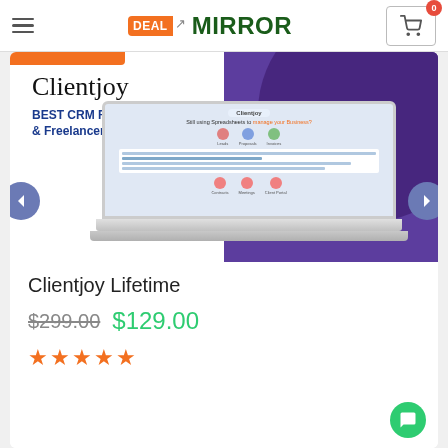Deal Mirror — navigation header with hamburger menu, logo, and cart (0 items)
[Figure (screenshot): Clientjoy product banner with laptop mockup showing CRM dashboard. Text: 'Clientjoy — BEST CRM FOR BUSINESSES & Freelancers'. Carousel navigation arrows on left and right.]
Clientjoy Lifetime
$299.00  $129.00
★★★★★